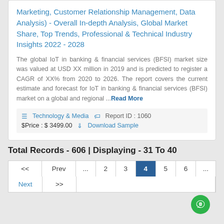Marketing, Customer Relationship Management, Data Analysis) - Overall In-depth Analysis, Global Market Share, Top Trends, Professional & Technical Industry Insights 2022 - 2028
The global IoT in banking & financial services (BFSI) market size was valued at USD XX million in 2019 and is predicted to register a CAGR of XX% from 2020 to 2026. The report covers the current estimate and forecast for IoT in banking & financial services (BFSI) market on a global and regional ... Read More
Technology & Media   Report ID : 1060   $Price : $ 3499.00   Download Sample
Total Records - 606 | Displaying - 31 To 40
| << | Prev | ... | 2 | 3 | 4 | 5 | 6 | ... |
| --- | --- | --- | --- | --- | --- | --- | --- | --- |
| Next | >> |  |  |  |  |  |  |  |
[Figure (other): Green circular chat button in bottom right corner]